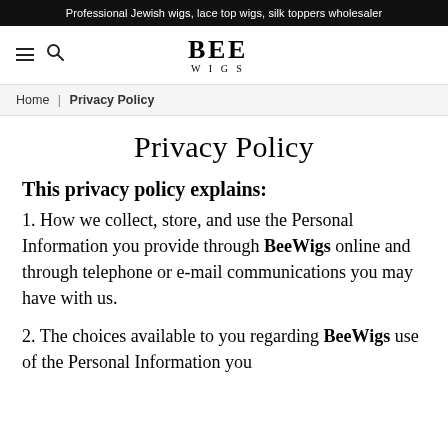Professional Jewish wigs, lace top wigs, silk toppers wholesaler
[Figure (logo): BEE WIGS logo with hamburger menu and search icon in navigation bar]
Home | Privacy Policy
Privacy Policy
This privacy policy explains:
1. How we collect, store, and use the Personal Information you provide through BeeWigs online and through telephone or e-mail communications you may have with us.
2. The choices available to you regarding BeeWigs use of the Personal Information you